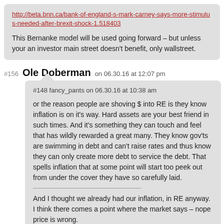http://beta.bnn.ca/bank-of-england-s-mark-carney-says-more-stimulus-needed-after-brexit-shock-1.518403
This Bernanke model will be used going forward – but unless your an investor main street doesn't benefit, only wallstreet.
#156 Ole Doberman on 06.30.16 at 12:07 pm
#148 fancy_pants on 06.30.16 at 10:38 am
or the reason people are shoving $ into RE is they know inflation is on it's way. Hard assets are your best friend in such times. And it's something they can touch and feel that has wildly rewarded a great many. They know gov'ts are swimming in debt and can't raise rates and thus know they can only create more debt to service the debt. That spells inflation that at some point will start too peek out from under the cover they have so carefully laid.
And I thought we already had our inflation, in RE anyway.
I think there comes a point where the market says – nope price is wrong.
Only alternative then is stocks and gold.